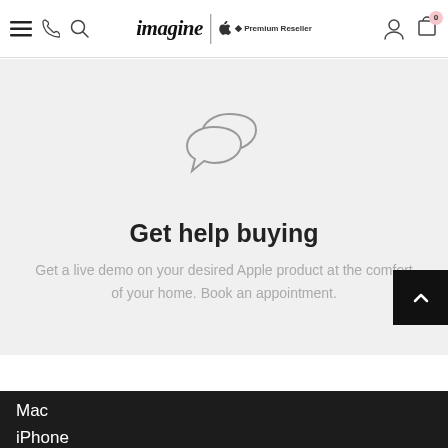imagine | Apple Premium Reseller — navigation bar with hamburger menu, phone, search, user icon, cart (0)
[Figure (illustration): Two overlapping speech bubble icons in gray outline style]
Get help buying
Get a live demo on your desired Apple product at the comfort of your home. Book an appointment.
Mac
iPhone
iPad